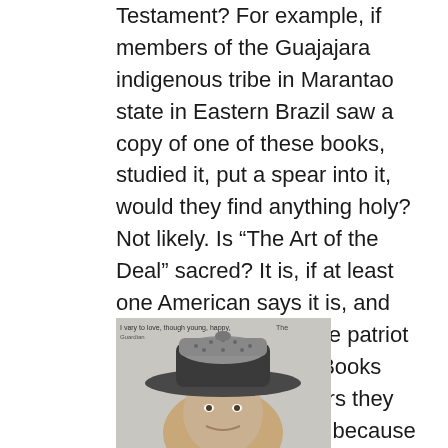Testament? For example, if members of the Guajajara indigenous tribe in Marantao state in Eastern Brazil saw a copy of one of these books, studied it, put a spear into it, would they find anything holy? Not likely. Is “The Art of the Deal” sacred? It is, if at least one American says it is, and you’ll probably find one patriot claiming that it is so. Books and the religious orders they teach are sacred only because people say they are. If you realize that much, you can go into a screening of “I, Pastafari” with an open mind.
[Figure (photo): A person wearing a colander on their head, partially visible from the chest up. Text overlay visible at the top of the image.]